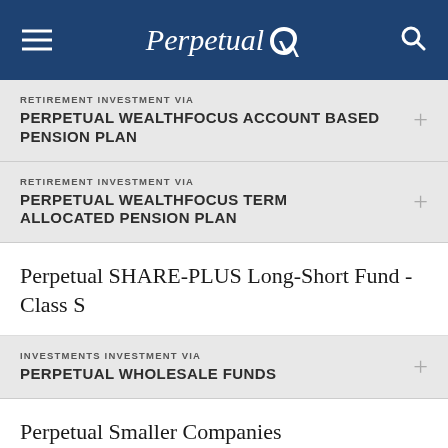Perpetual
RETIREMENT INVESTMENT VIA
PERPETUAL WEALTHFOCUS ACCOUNT BASED PENSION PLAN
RETIREMENT INVESTMENT VIA
PERPETUAL WEALTHFOCUS TERM ALLOCATED PENSION PLAN
Perpetual SHARE-PLUS Long-Short Fund - Class S
INVESTMENTS INVESTMENT VIA
PERPETUAL WHOLESALE FUNDS
Perpetual Smaller Companies